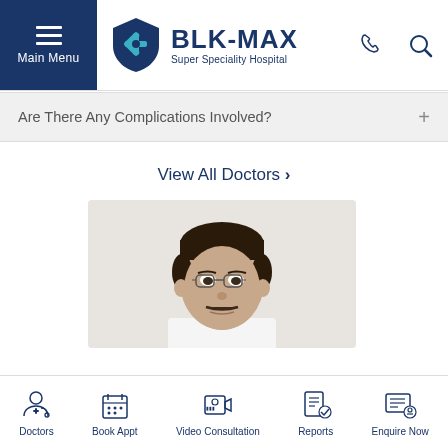[Figure (logo): BLK-MAX Super Speciality Hospital logo with shield and star icon]
Main Menu
Are There Any Complications Involved?
View All Doctors ›
[Figure (photo): Photo of a male doctor with glasses, middle-aged, wearing professional attire]
Doctors | Book Appt | Video Consultation | Reports | Enquire Now